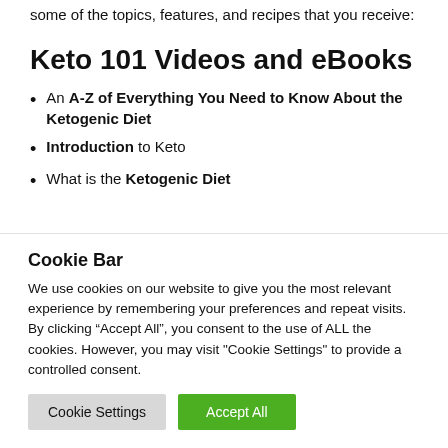some of the topics, features, and recipes that you receive:
Keto 101 Videos and eBooks
An A-Z of Everything You Need to Know About the Ketogenic Diet
Introduction to Keto
What is the Ketogenic Diet
Cookie Bar
We use cookies on our website to give you the most relevant experience by remembering your preferences and repeat visits. By clicking “Accept All”, you consent to the use of ALL the cookies. However, you may visit "Cookie Settings" to provide a controlled consent.